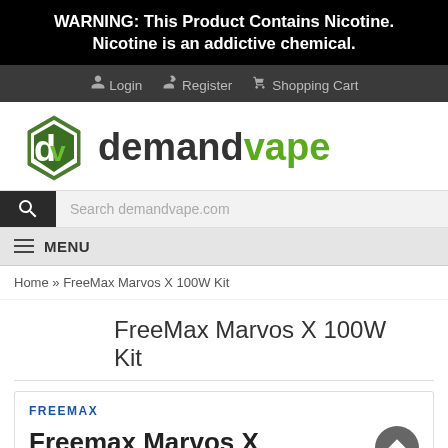WARNING: This Product Contains Nicotine. Nicotine is an addictive chemical.
Login  Register  Shopping Cart
[Figure (logo): demandvape logo — green hexagon with 'dv' and text 'demandvape' in dark/green]
Search demandvape.com
MENU
Home » FreeMax Marvos X 100W Kit
FreeMax Marvos X 100W Kit
FREEMAX
Freemax Marvos X 100W Kit